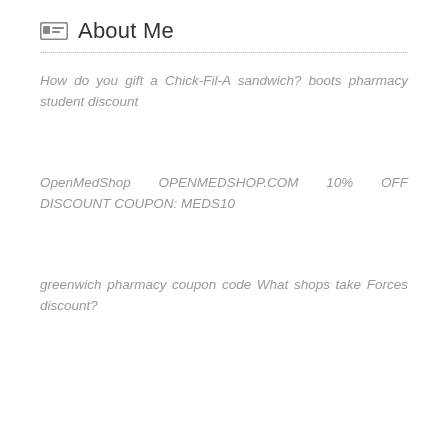About Me
How do you gift a Chick-Fil-A sandwich? boots pharmacy student discount
OpenMedShop OPENMEDSHOP.COM 10% OFF DISCOUNT COUPON: MEDS10
greenwich pharmacy coupon code What shops take Forces discount?